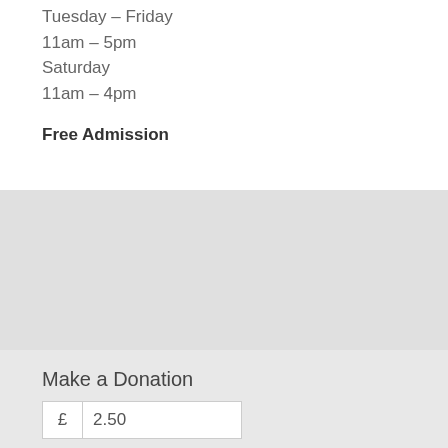Tuesday – Friday
11am – 5pm
Saturday
11am – 4pm
Free Admission
[Figure (map): Grey map section placeholder]
Make a Donation
£  2.50
We use cookies to ensure that we give you the best experience on our website. If you continue to use this site we will assume that you are happy with it.
Ok   Privacy policy